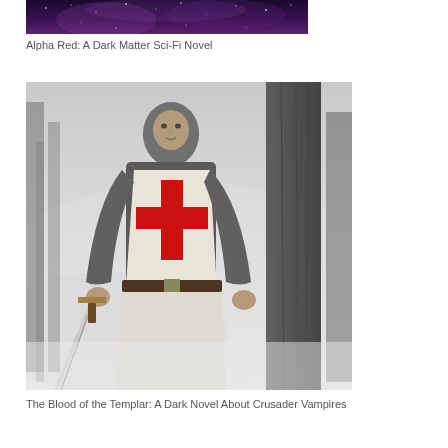[Figure (photo): Partial crop of a space/nebula image — dark purple sky with stars, bottom portion of what appears to be a book cover for a sci-fi novel]
Alpha Red: A Dark Matter Sci-Fi Novel
[Figure (photo): A digital illustration of a Templar knight in chain mail armor with a white surcoat bearing a red cross, holding a sword, standing in a misty forest with a large tree in the background]
The Blood of the Templar: A Dark Novel About Crusader Vampires